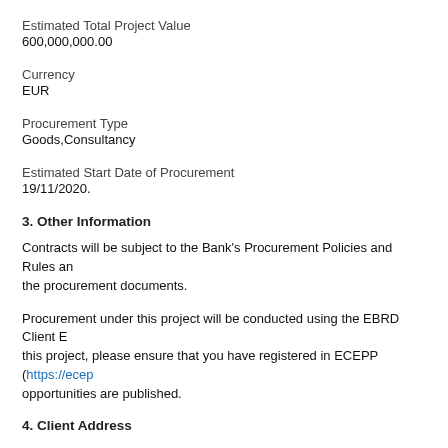Estimated Total Project Value
600,000,000.00
Currency
EUR
Procurement Type
Goods,Consultancy
Estimated Start Date of Procurement
19/11/2020.
3. Other Information
Contracts will be subject to the Bank's Procurement Policies and Rules and the procurement documents.
Procurement under this project will be conducted using the EBRD Client E this project, please ensure that you have registered in ECEPP (https://ecep opportunities are published.
4. Client Address